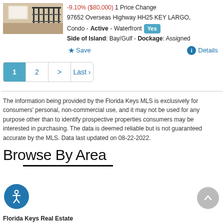[Figure (photo): Property photo thumbnail showing indoor area with railings]
-9.10% ($80,000) 1 Price Change
97652 Overseas Highway HH25 KEY LARGO,
Condo - Active - Waterfront Yes
Side of Island: Bay/Gulf - Dockage: Assigned
★ Save   ℹ Details
1  2  >  Last ›
The information being provided by the Florida Keys MLS is exclusively for consumers' personal, non-commercial use, and it may not be used for any purpose other than to identify prospective properties consumers may be interested in purchasing. The data is deemed reliable but is not guaranteed accurate by the MLS. Data last updated on 08-22-2022.
Browse By Area
Florida Keys Real Estate